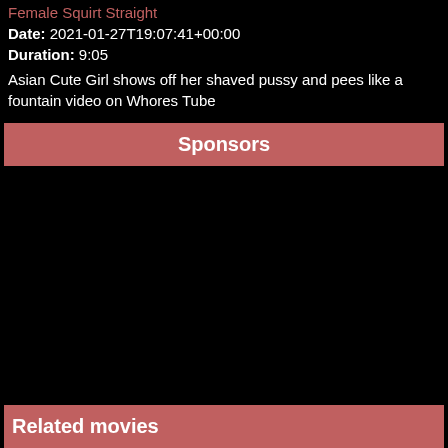Female Squirt Straight
Date: 2021-01-27T19:07:41+00:00
Duration: 9:05
Asian Cute Girl shows off her shaved pussy and pees like a fountain video on Whores Tube
Sponsors
Related movies